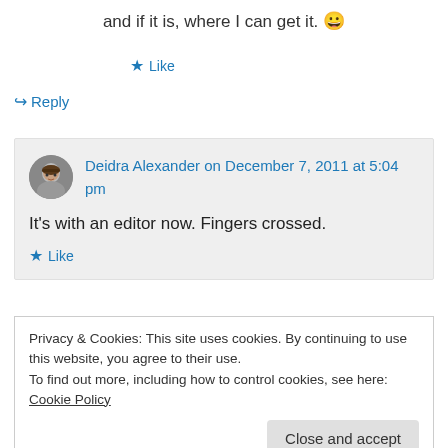and if it is, where I can get it. 😀
★ Like
↪ Reply
Deidra Alexander on December 7, 2011 at 5:04 pm
It's with an editor now. Fingers crossed.
★ Like
Privacy & Cookies: This site uses cookies. By continuing to use this website, you agree to their use.
To find out more, including how to control cookies, see here: Cookie Policy
Close and accept